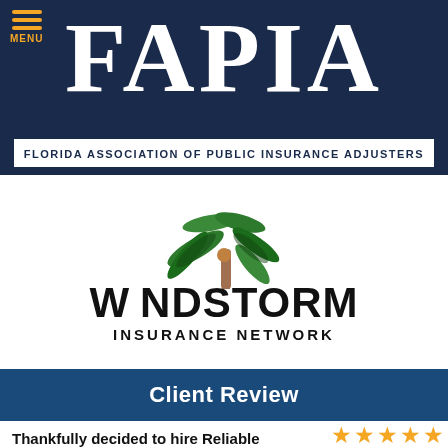[Figure (logo): FAPIA logo banner - Florida Association of Public Insurance Adjusters, dark navy background with large white serif FAPIA text and white subtitle bar]
[Figure (logo): Windstorm Insurance Network logo - palm tree frond illustration above bold black WINDSTORM INSURANCE NETWORK text]
Client Review
Thankfully decided to hire Reliable Claims Adjusting.
[Figure (infographic): Five orange star rating icons, phone icon circle, email icon circle]